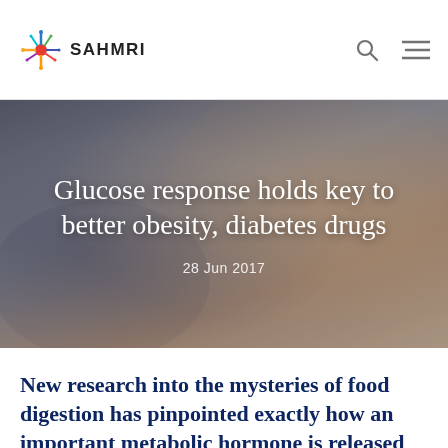SAHMRI
[Figure (photo): Blurred background photo of hands with medical/scientific context, showing a person's hands near a surface with glasses and equipment, dimly lit in warm tones]
Glucose response holds key to better obesity, diabetes drugs
28 Jun 2017
New research into the mysteries of food digestion has pinpointed exactly how an important metabolic hormone is released